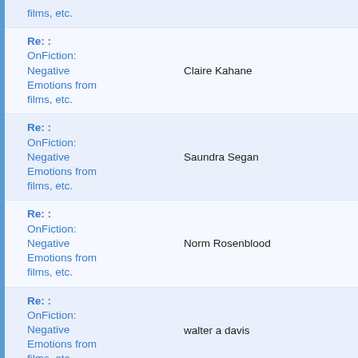| Subject | Author |
| --- | --- |
| Re: : OnFiction: Negative Emotions from films, etc. | Claire Kahane |
| Re: : OnFiction: Negative Emotions from films, etc. | Saundra Segan |
| Re: : OnFiction: Negative Emotions from films, etc. | Norm Rosenblood |
| Re: : OnFiction: Negative Emotions from films, etc. | walter a davis |
| Re: : OnFiction: Negative Emotions from films, etc. | Johanna Tabin |
| Re: : OnFiction: Negative Emotions from films, etc. | Elizabeth Tallini (partial) |